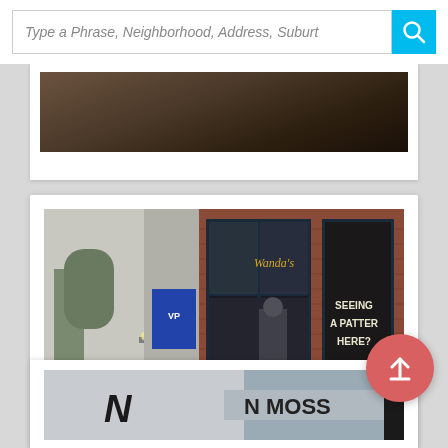[Figure (screenshot): Search bar UI with italic placeholder text 'Type a Phrase, Neighborhood, Address, Suburt' and a cyan/blue search button with magnifying glass icon]
[Figure (photo): Partial view of a street-level photo of a building exterior (top card, mostly cropped)]
[Figure (photo): Street view photo of a brick-facade retail storefront with large navy-framed display windows showing text 'SEEING A PATTERN HERE?' and a blue Vineyard Vines banner, sidewalk and trees visible on left]
[Figure (photo): Partial bottom card showing a building exterior with 'N MOSS' signage visible, partially cropped at bottom of page]
[Figure (other): Coral/salmon colored circular scroll-to-top floating action button with an upward arrow icon]